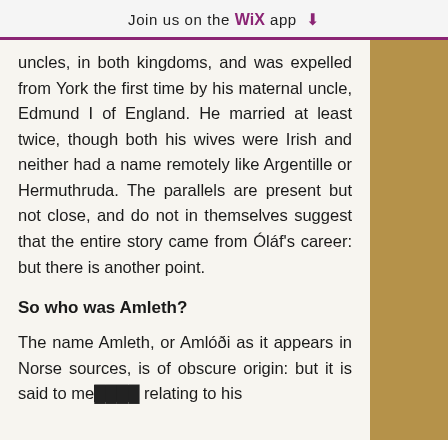Join us on the WiX app ⬇
uncles, in both kingdoms, and was expelled from York the first time by his maternal uncle, Edmund I of England. He married at least twice, though both his wives were Irish and neither had a name remotely like Argentille or Hermuthruda. The parallels are present but not close, and do not in themselves suggest that the entire story came from Óláf's career: but there is another point.
So who was Amleth?
The name Amleth, or Amlóði as it appears in Norse sources, is of obscure origin: but it is said to me... relating to his